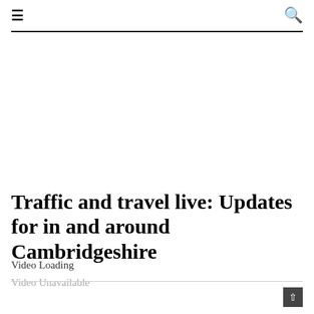≡  🔍
Traffic and travel live: Updates for in and around Cambridgeshire
Video Loading
Video Unavailable